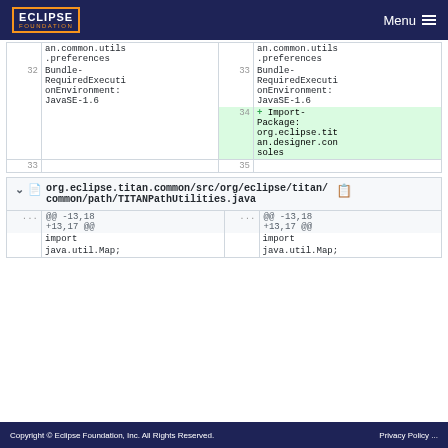ECLIPSE FOUNDATION | Menu
| line-left | code-left | line-right | code-right |
| --- | --- | --- | --- |
|  | an.common.utils.preferences |  | an.common.utils.preferences |
| 32 | Bundle-RequiredExecutionEnvironment: JavaSE-1.6 | 33 | Bundle-RequiredExecutionEnvironment: JavaSE-1.6 |
|  |  | 34 | + Import-Package: org.eclipse.titan.designer.consoles |
| 33 |  | 35 |  |
org.eclipse.titan.common/src/org/eclipse/titan/common/path/TITANPathUtilities.java
| line-left | code-left | line-right | code-right |
| --- | --- | --- | --- |
| ... | @@ -13,18 +13,17 @@ | ... | @@ -13,18 +13,17 @@ |
|  | import |  | import |
|  | java.util.Map; |  | java.util.Map; |
Copyright © Eclipse Foundation, Inc. All Rights Reserved.    Privacy Policy ...